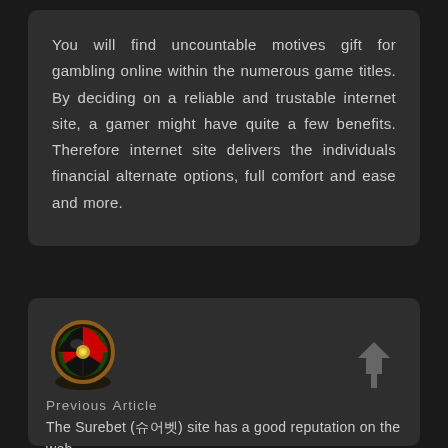You will find uncountable motives gift for gambling online within the numerous game titles. By deciding on a reliable and trustable internet site, a gamer might have quite a few benefits. Therefore internet site delivers the individuals financial alternate options, full comfort and ease and more.
[Figure (illustration): A roulette wheel viewed from a slight angle, showing green, red and black sections with gold trim.]
[Figure (other): An upward-pointing house/arrow icon in dark gray.]
Previous Article
The Surebet (슈어벳) site has a good reputation on the web